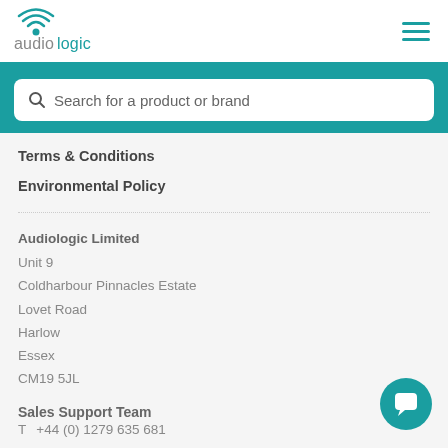[Figure (logo): Audiologic logo with teal wifi-style icon above text 'audiologic' in teal]
[Figure (other): Hamburger menu icon (three teal horizontal lines)]
Search for a product or brand
Terms & Conditions
Environmental Policy
Audiologic Limited
Unit 9
Coldharbour Pinnacles Estate
Lovet Road
Harlow
Essex
CM19 5JL
Sales Support Team
T    +44 (0) 1279 635 681
[Figure (other): Teal circular chat/comment bubble button in bottom right corner]